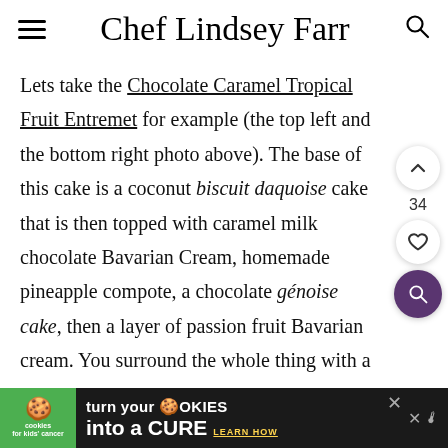Chef Lindsey Farr
Lets take the Chocolate Caramel Tropical Fruit Entremet for example (the top left and the bottom right photo above). The base of this cake is a coconut biscuit daquoise cake that is then topped with caramel milk chocolate Bavarian Cream, homemade pineapple compote, a chocolate génoise cake, then a layer of passion fruit Bavarian cream. You surround the whole thing with a light, egg-
[Figure (screenshot): Advertisement banner: Cookies for Kids Cancer - turn your COOKIES into a CURE, LEARN HOW]